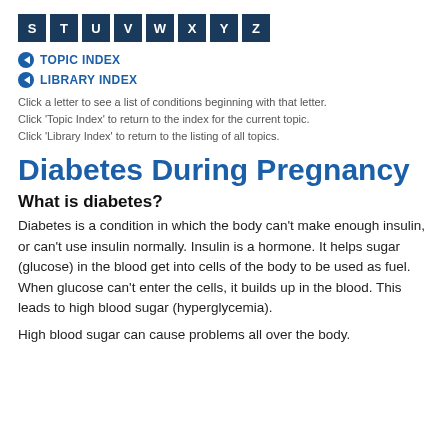S T U V W X Y Z
TOPIC INDEX
LIBRARY INDEX
Click a letter to see a list of conditions beginning with that letter.
Click 'Topic Index' to return to the index for the current topic.
Click 'Library Index' to return to the listing of all topics.
Diabetes During Pregnancy
What is diabetes?
Diabetes is a condition in which the body can't make enough insulin, or can't use insulin normally. Insulin is a hormone. It helps sugar (glucose) in the blood get into cells of the body to be used as fuel. When glucose can't enter the cells, it builds up in the blood. This leads to high blood sugar (hyperglycemia).
High blood sugar can cause problems all over the body.